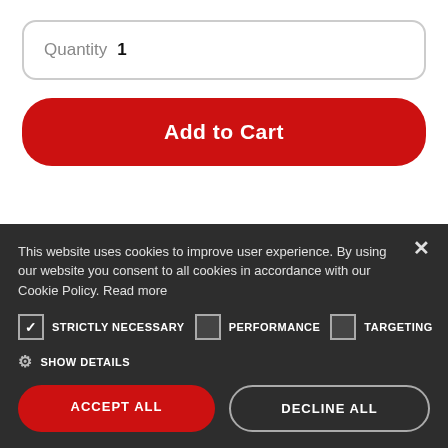Quantity  1
Add to Cart
This website uses cookies to improve user experience. By using our website you consent to all cookies in accordance with our Cookie Policy. Read more
STRICTLY NECESSARY   PERFORMANCE   TARGETING
SHOW DETAILS
ACCEPT ALL
DECLINE ALL